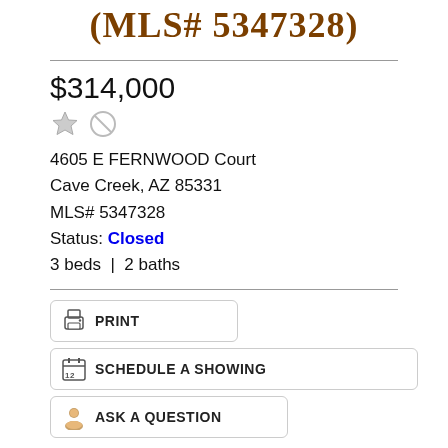(MLS# 5347328)
$314,000
4605 E FERNWOOD Court
Cave Creek, AZ 85331
MLS# 5347328
Status: Closed
3 beds | 2 baths
[Figure (screenshot): PRINT button with printer icon]
[Figure (screenshot): SCHEDULE A SHOWING button with calendar icon]
[Figure (screenshot): ASK A QUESTION button with agent icon]